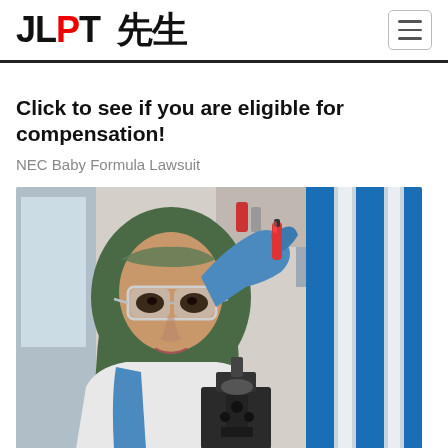JLPT 先生
Click to see if you are eligible for compensation!
NEC Baby Formula Lawsuit
[Figure (photo): A woman wearing a green hijab and safety goggles, dressed in a white lab coat and blue gloves, holding a small red-capped vial up to examine it. A microscope is visible in the background in a laboratory setting with blue vertical panels.]